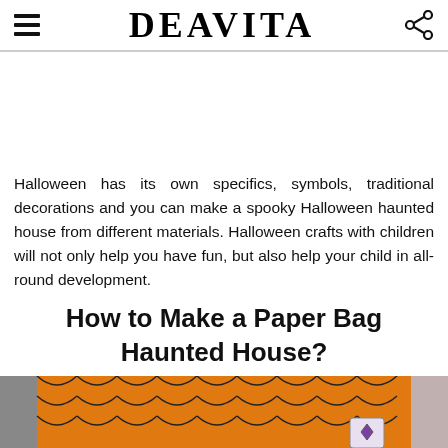DEAVITA
Halloween has its own specifics, symbols, traditional decorations and you can make a spooky Halloween haunted house from different materials. Halloween crafts with children will not only help you have fun, but also help your child in all-round development.
How to Make a Paper Bag Haunted House?
[Figure (photo): Bottom portion of a Halloween paper bag haunted house craft with orange and black scale pattern and a decorative element visible]